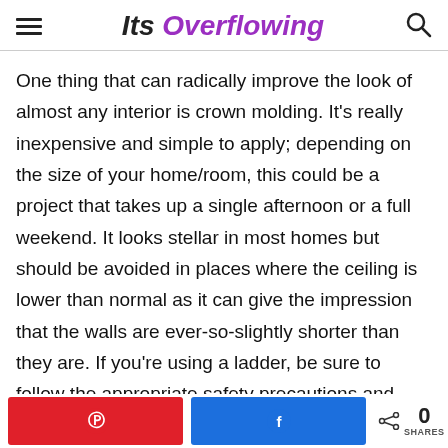Its Overflowing
One thing that can radically improve the look of almost any interior is crown molding. It's really inexpensive and simple to apply; depending on the size of your home/room, this could be a project that takes up a single afternoon or a full weekend. It looks stellar in most homes but should be avoided in places where the ceiling is lower than normal as it can give the impression that the walls are ever-so-slightly shorter than they are. If you're using a ladder, be sure to follow the appropriate safety precautions and always let someone know what you're up to
0 SHARES